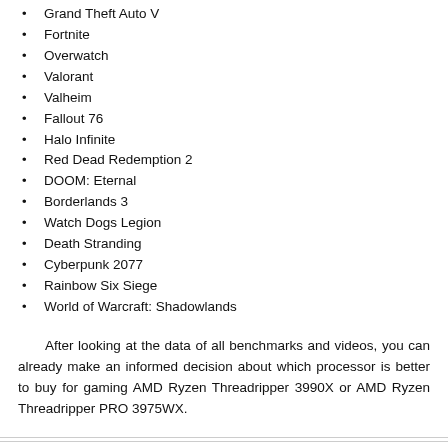Grand Theft Auto V
Fortnite
Overwatch
Valorant
Valheim
Fallout 76
Halo Infinite
Red Dead Redemption 2
DOOM: Eternal
Borderlands 3
Watch Dogs Legion
Death Stranding
Cyberpunk 2077
Rainbow Six Siege
World of Warcraft: Shadowlands
After looking at the data of all benchmarks and videos, you can already make an informed decision about which processor is better to buy for gaming AMD Ryzen Threadripper 3990X or AMD Ryzen Threadripper PRO 3975WX.